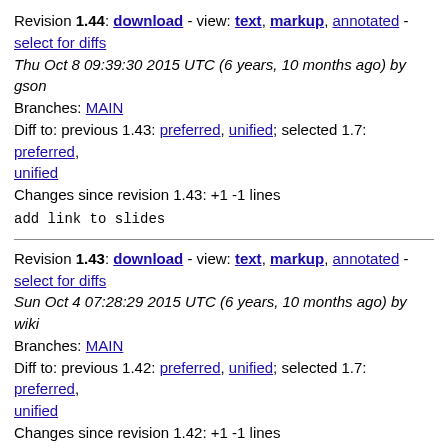Revision 1.44: download - view: text, markup, annotated - select for diffs
Thu Oct 8 09:39:30 2015 UTC (6 years, 10 months ago) by gson
Branches: MAIN
Diff to: previous 1.43: preferred, unified; selected 1.7: preferred, unified
Changes since revision 1.43: +1 -1 lines
add link to slides
Revision 1.43: download - view: text, markup, annotated - select for diffs
Sun Oct 4 07:28:29 2015 UTC (6 years, 10 months ago) by wiki
Branches: MAIN
Diff to: previous 1.42: preferred, unified; selected 1.7: preferred, unified
Changes since revision 1.42: +1 -1 lines
web commit by pettai
Revision 1.42: download - view: text, markup, annotated - select for diffs
Sat Oct 3 19:33:13 2015 UTC (6 years, 10 months ago) by ast
Branches: MAIN
Diff to: previous 1.41: preferred, unified; selected 1.7: preferred